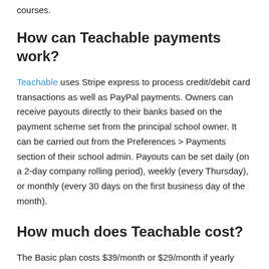courses.
How can Teachable payments work?
Teachable uses Stripe express to process credit/debit card transactions as well as PayPal payments. Owners can receive payouts directly to their banks based on the payment scheme set from the principal school owner. It can be carried out from the Preferences > Payments section of their school admin. Payouts can be set daily (on a 2-day company rolling period), weekly (every Thursday), or monthly (every 30 days on the first business day of the month).
How much does Teachable cost?
The Basic plan costs $39/month or $29/month if yearly billing is chosen. However, Teachable’s Pro Plan at $119/month or $99/month if yearly billing is set is more opted by many individuals. It has more features that fit most of what their business needs